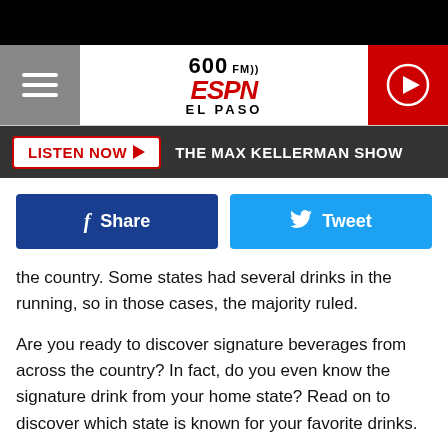[Figure (logo): 600 AM ESPN El Paso radio station logo with hamburger menu icon on the left and a red play button on the right]
LISTEN NOW ▶  THE MAX KELLERMAN SHOW
[Figure (infographic): Facebook Share button (dark blue) and Twitter Tweet button (light blue) social sharing buttons]
the country. Some states had several drinks in the running, so in those cases, the majority ruled.
Are you ready to discover signature beverages from across the country? In fact, do you even know the signature drink from your home state? Read on to discover which state is known for your favorite drinks.
By: Meagan Drillinger
From: Signature drinks from every state